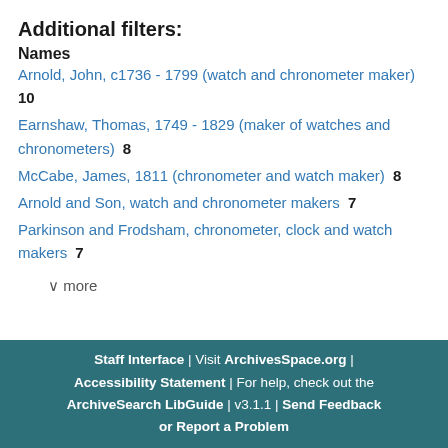Additional filters:
Names
Arnold, John, c1736 - 1799 (watch and chronometer maker)  10
Earnshaw, Thomas, 1749 - 1829 (maker of watches and chronometers)  8
McCabe, James, 1811 (chronometer and watch maker)  8
Arnold and Son, watch and chronometer makers  7
Parkinson and Frodsham, chronometer, clock and watch makers  7
v more
Staff Interface | Visit ArchivesSpace.org | Accessibility Statement | For help, check out the ArchiveSearch LibGuide | v3.1.1 | Send Feedback or Report a Problem